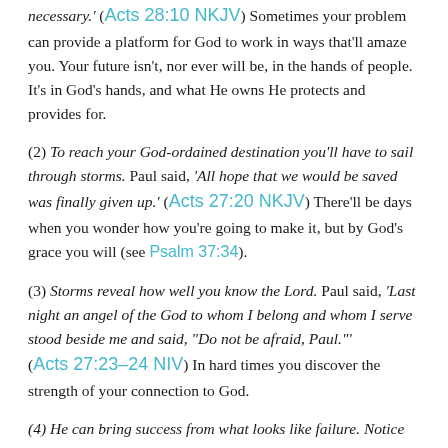necessary.' (Acts 28:10 NKJV) Sometimes your problem can provide a platform for God to work in ways that'll amaze you. Your future isn't, nor ever will be, in the hands of people. It's in God's hands, and what He owns He protects and provides for.
(2) To reach your God-ordained destination you'll have to sail through storms. Paul said, 'All hope that we would be saved was finally given up.' (Acts 27:20 NKJV) There'll be days when you wonder how you're going to make it, but by God's grace you will (see Psalm 37:34).
(3) Storms reveal how well you know the Lord. Paul said, 'Last night an angel of the God to whom I belong and whom I serve stood beside me and said, "Do not be afraid, Paul."' (Acts 27:23-24 NIV) In hard times you discover the strength of your connection to God.
(4) He can bring success from what looks like failure. Notice